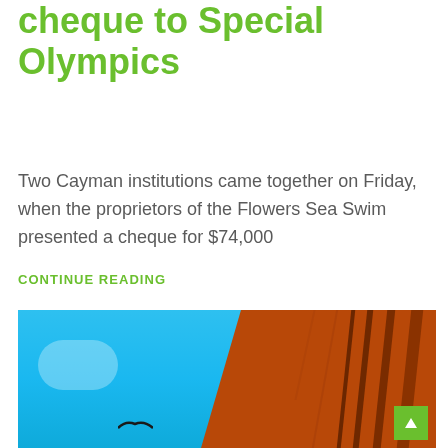cheque to Special Olympics
Two Cayman institutions came together on Friday, when the proprietors of the Flowers Sea Swim presented a cheque for $74,000
CONTINUE READING
[Figure (photo): Photo of a bridge structure (orange/red metal girders) against a bright blue sky, with a bird silhouette visible in the lower portion and a green scroll-to-top button overlay in the bottom right corner.]